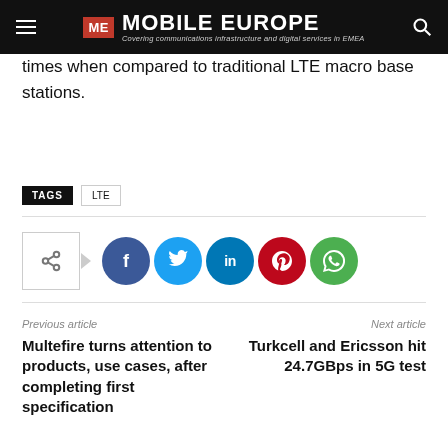ME MOBILE EUROPE — Covering communications infrastructure and digital services in EMEA
times when compared to traditional LTE macro base stations.
TAGS  LTE
[Figure (infographic): Social share icons: share button box with arrow, Facebook (dark blue), Twitter (light blue), LinkedIn (dark blue), Pinterest (red), WhatsApp (green)]
Previous article
Multefire turns attention to products, use cases, after completing first specification
Next article
Turkcell and Ericsson hit 24.7GBps in 5G test